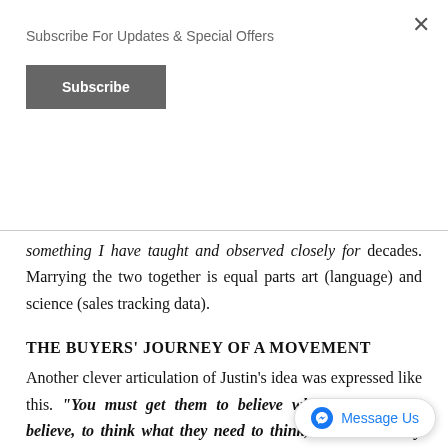Subscribe For Updates & Special Offers
something I have taught and observed closely for decades. Marrying the two together is equal parts art (language) and science (sales tracking data).
THE BUYERS' JOURNEY OF A MOVEMENT
Another clever articulation of Justin's idea was expressed like this. "You must get them to believe what they need to believe, to think what they need to think, to do what they need to do." The application of this philosophy in creating a movement is profound. If you blend this practice with the mental positioning game", you will begin to understand that preplanning the